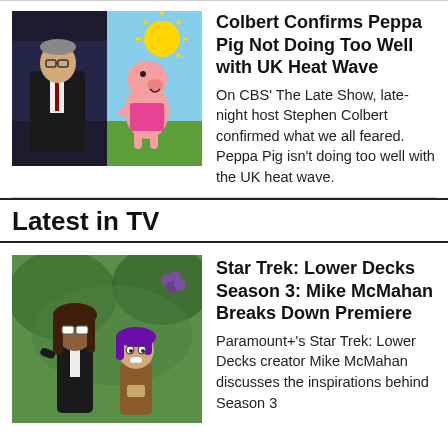[Figure (photo): Split image: Stephen Colbert on the left (Late Show set) and Peppa Pig cartoon on the right (Peppa sweating under the sun)]
Colbert Confirms Peppa Pig Not Doing Too Well with UK Heat Wave
On CBS' The Late Show, late-night host Stephen Colbert confirmed what we all feared. Peppa Pig isn't doing too well with the UK heat wave.
Latest in TV
[Figure (photo): Animated screenshot from Star Trek: Lower Decks Season 3 showing two animated characters]
Star Trek: Lower Decks Season 3: Mike McMahan Breaks Down Premiere
Paramount+'s Star Trek: Lower Decks creator Mike McMahan discusses the inspirations behind Season 3